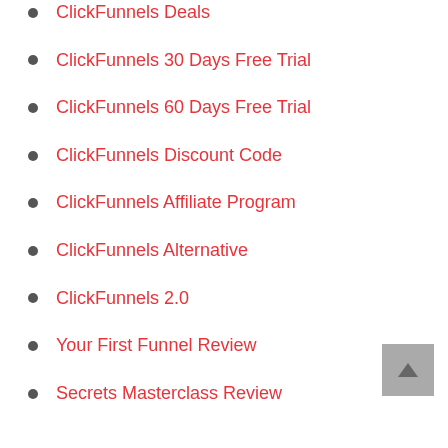ClickFunnels Deals
ClickFunnels 30 Days Free Trial
ClickFunnels 60 Days Free Trial
ClickFunnels Discount Code
ClickFunnels Affiliate Program
ClickFunnels Alternative
ClickFunnels 2.0
Your First Funnel Review
Secrets Masterclass Review